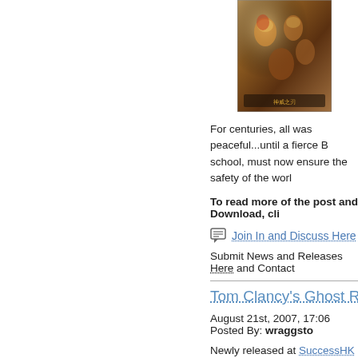[Figure (illustration): Game cover art showing fantasy/anime style characters with colorful clothing and weapons]
For centuries, all was peaceful...until a fierce B school, must now ensure the safety of the worl
To read more of the post and Download, cli
Join In and Discuss Here
Submit News and Releases Here and Contact
Tom Clancy's Ghost Recon
August 21st, 2007, 17:06 Posted By: wraggsto
Newly released at SuccessHK
Tom Clancy's Ghost Recon Advanced Warfight Ghosts. In the year 2014, the rising conflict bet Captain Scott Mitchell, the Ghosts are called u they fend off an attack on U.S. soil. Equipped